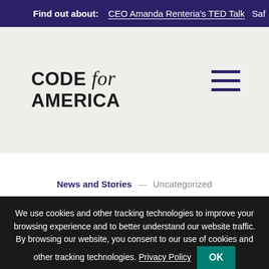Find out about: CEO Amanda Renteria's TED Talk  Saf
[Figure (logo): Code for America logo with hamburger menu icon]
News and Stories — Uncategorized
We use cookies and other tracking technologies to improve your browsing experience and to better understand our website traffic. By browsing our website, you consent to our use of cookies and other tracking technologies. Privacy Policy  OK